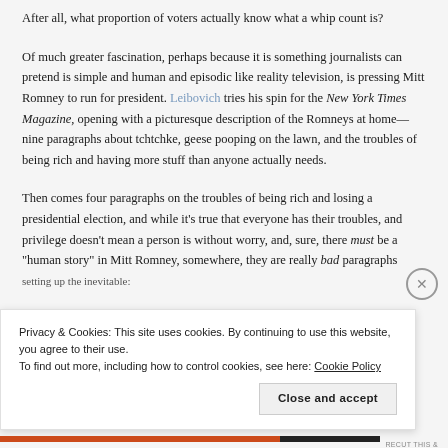After all, what proportion of voters actually know what a whip count is?
Of much greater fascination, perhaps because it is something journalists can pretend is simple and human and episodic like reality television, is pressing Mitt Romney to run for president. Leibovich tries his spin for the New York Times Magazine, opening with a picturesque description of the Romneys at home—nine paragraphs about tchtchke, geese pooping on the lawn, and the troubles of being rich and having more stuff than anyone actually needs.
Then comes four paragraphs on the troubles of being rich and losing a presidential election, and while it's true that everyone has their troubles, and privilege doesn't mean a person is without worry, and, sure, there must be a "human story" in Mitt Romney, somewhere, they are really bad paragraphs setting up the inevitable:
Privacy & Cookies: This site uses cookies. By continuing to use this website, you agree to their use.
To find out more, including how to control cookies, see here: Cookie Policy